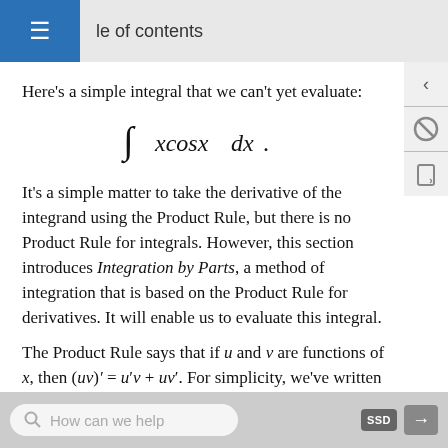Table of contents
Here's a simple integral that we can't yet evaluate:
It's a simple matter to take the derivative of the integrand using the Product Rule, but there is no Product Rule for integrals. However, this section introduces Integration by Parts, a method of integration that is based on the Product Rule for derivatives. It will enable us to evaluate this integral.
The Product Rule says that if u and v are functions of x, then (uv)' = u'v + uv'. For simplicity, we've written u for u(x) and v for v(x). Suppose we integrate both sides with respect to x